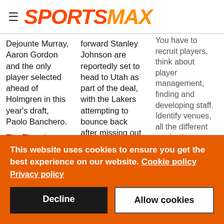SPORTSMAX
Dejounte Murray, Aaron Gordon and the only player selected ahead of Holmgren in this year's draft, Paolo Banchero.

The Thunder drafted Holmgren
forward Stanley Johnson are reportedly set to head to Utah as part of the deal, with the Lakers attempting to bounce back after missing out on the
You have to recruit players, think about player management, finding and developing staff. Identify venues, all the different production
This website uses cookies to ensure you get the best experience on our website. Cookie policy
Privacy policy
Decline
Allow cookies